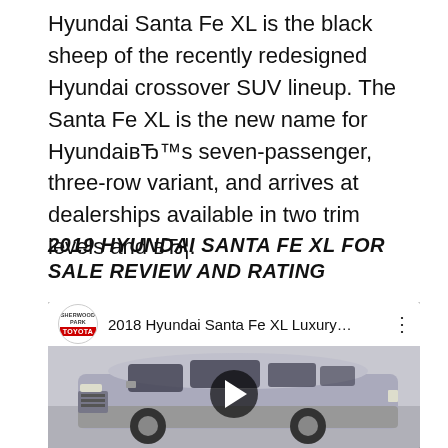Hyundai Santa Fe XL is the black sheep of the recently redesigned Hyundai crossover SUV lineup. The Santa Fe XL is the new name for HyundaiвЂ™s seven-passenger, three-row variant, and arrives at dealerships available in two trim levels and вЂ¦.
2019 HYUNDAI SANTA FE XL FOR SALE REVIEW AND RATING
[Figure (screenshot): YouTube video embed showing a 2018 Hyundai Santa Fe XL Luxury with a Sherwood Park Toyota channel logo, video title '2018 Hyundai Santa Fe XL Luxury...', and a thumbnail of a silver/grey Hyundai Santa Fe XL SUV parked indoors with a play button overlay.]